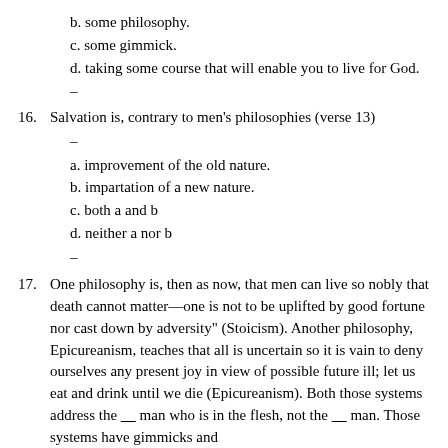b. some philosophy.
c. some gimmick.
d. taking some course that will enable you to live for God.
–
16. Salvation is, contrary to men's philosophies (verse 13)
–
a. improvement of the old nature.
b. impartation of a new nature.
c. both a and b
d. neither a nor b
–
17. One philosophy is, then as now, that men can live so nobly that death cannot matter—one is not to be uplifted by good fortune nor cast down by adversity" (Stoicism). Another philosophy, Epicureanism, teaches that all is uncertain so it is vain to deny ourselves any present joy in view of possible future ill; let us eat and drink until we die (Epicureanism). Both those systems address the ___ man who is in the flesh, not the ___ man. Those systems have gimmicks and